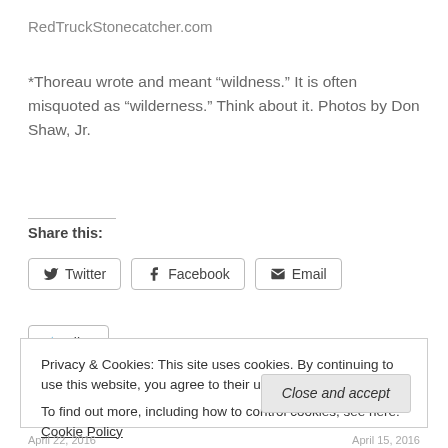RedTruckStonecatcher.com
*Thoreau wrote and meant “wildness.” It is often misquoted as “wilderness.” Think about it. Photos by Don Shaw, Jr.
Share this:
Twitter   Facebook   Email
Like
Be the first to like this.
Privacy & Cookies: This site uses cookies. By continuing to use this website, you agree to their use.
To find out more, including how to control cookies, see here: Cookie Policy
Close and accept
April 22, 2016   April 15, 2016